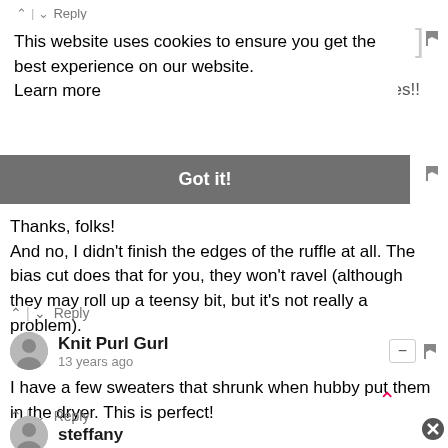^ | v Reply
This website uses cookies to ensure you get the best experience on our website. Learn more
ures!!
Got it!
Thanks, folks!
And no, I didn't finish the edges of the ruffle at all. The bias cut does that for you, they won't ravel (although they may roll up a teensy bit, but it's not really a problem).
^ | v Reply
Knit Purl Gurl
13 years ago
I have a few sweaters that shrunk when hubby put them in the dryer. This is perfect!
^ | v Reply
steffany